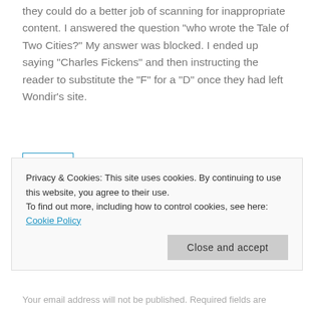they could do a better job of scanning for inappropriate content. I answered the question “who wrote the Tale of Two Cities?” My answer was blocked. I ended up saying “Charles Fickens” and then instructing the reader to substitute the “F” for a “D” once they had left Wondir’s site.
Reply
Privacy & Cookies: This site uses cookies. By continuing to use this website, you agree to their use.
To find out more, including how to control cookies, see here: Cookie Policy
Close and accept
Your email address will not be published. Required fields are